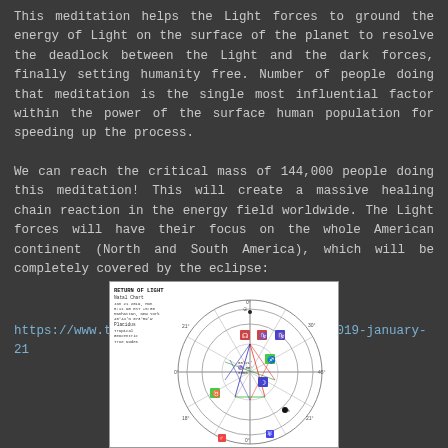This meditation helps the Light forces to ground the energy of Light on the surface of the planet to resolve the deadlock between the Light and the dark forces, finally setting humanity free. Number of people doing that meditation is the single most influential factor within the power of the surface human population for speeding up the process.
We can reach the critical mass of 144,000 people doing this meditation! This will create a massive healing chain reaction in the energy field worldwide. The Light forces will have their focus on the whole American continent (North and South America), which will be completely covered by the eclipse:
https://www.timeanddate.com/eclipse/lunar/2019-january-21
[Figure (other): Astrological natal chart titled 'RETURN OF LIGHT' showing a circular horoscope wheel with planetary symbols, aspect lines, and chart data including date Jan 21 2019, Manhattan New York location. Multiple colored lines cross the center of the wheel representing planetary aspects.]